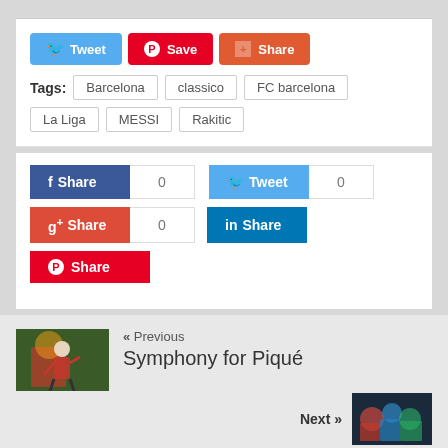Tweet | Save | Share
Tags: Barcelona  classico  FC barcelona  La Liga  MESSI  Rakitic
f Share 0 | Tweet 0 | g+ Share 0 | in Share | Pinterest Share
« Previous
Symphony for Piqué
Next »